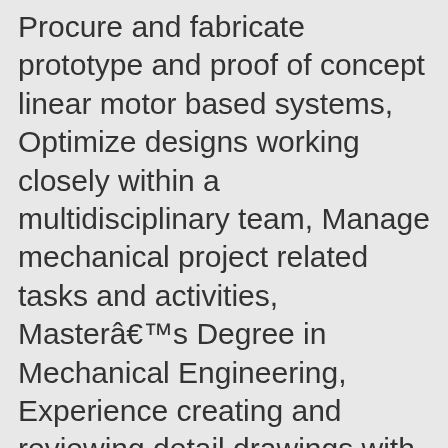Procure and fabricate prototype and proof of concept linear motor based systems, Optimize designs working closely within a multidisciplinary team, Manage mechanical project related tasks and activities, Masterâs Degree in Mechanical Engineering, Experience creating and reviewing detail drawings with GD&T, Permanent magnet motor mechanical design and manufacturing experience: coil winding, permanent magnet array assembly, lamination design, electronics packaging, Experience with rollers, wheels, and bearings for assembly automation or equivalent applications evaluation and design, Plastic bearing selection and design experience, Hygienic (food processing) equipment, FDA, and clean room design experience, Experience using PLM...